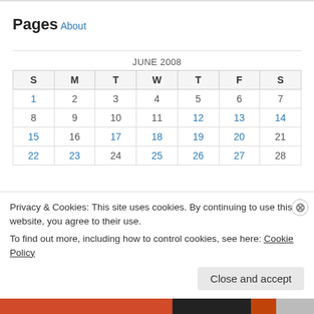Pages
About
| S | M | T | W | T | F | S |
| --- | --- | --- | --- | --- | --- | --- |
| 1 | 2 | 3 | 4 | 5 | 6 | 7 |
| 8 | 9 | 10 | 11 | 12 | 13 | 14 |
| 15 | 16 | 17 | 18 | 19 | 20 | 21 |
| 22 | 23 | 24 | 25 | 26 | 27 | 28 |
Privacy & Cookies: This site uses cookies. By continuing to use this website, you agree to their use.
To find out more, including how to control cookies, see here: Cookie Policy